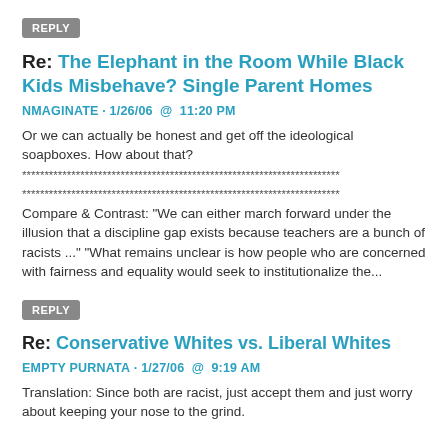REPLY
Re: The Elephant in the Room While Black Kids Misbehave? Single Parent Homes
NMAGINATE · 1/26/06  @  11:20 PM
Or we can actually be honest and get off the ideological soapboxes. How about that?
*******************************************************************************
*******************************************************************************
Compare & Contrast: "We can either march forward under the illusion that a discipline gap exists because teachers are a bunch of racists ..." "What remains unclear is how people who are concerned with fairness and equality would seek to institutionalize the...
REPLY
Re: Conservative Whites vs. Liberal Whites
EMPTY PURNATA · 1/27/06  @  9:19 AM
Translation: Since both are racist, just accept them and just worry about keeping your nose to the grind.